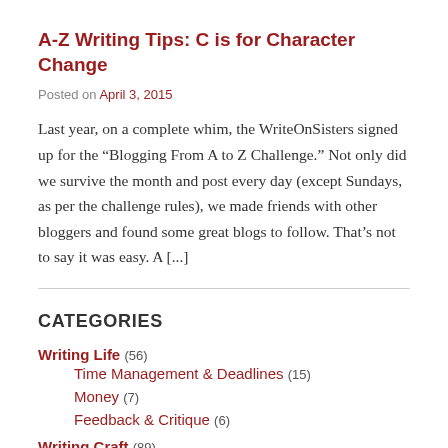A-Z Writing Tips: C is for Character Change
Posted on April 3, 2015
Last year, on a complete whim, the WriteOnSisters signed up for the “Blogging From A to Z Challenge.” Not only did we survive the month and post every day (except Sundays, as per the challenge rules), we made friends with other bloggers and found some great blogs to follow. That’s not to say it was easy. A [...]
CATEGORIES
Writing Life (56)
Time Management & Deadlines (15)
Money (7)
Feedback & Critique (6)
Writing Craft (89)